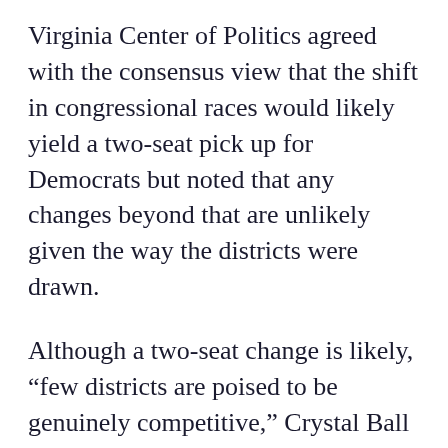Virginia Center of Politics agreed with the consensus view that the shift in congressional races would likely yield a two-seat pick up for Democrats but noted that any changes beyond that are unlikely given the way the districts were drawn.
Although a two-seat change is likely, “few districts are poised to be genuinely competitive,” Crystal Ball Associate Editor J. Miles Coleman wrote.
“Though the new map is altogether more reflective of the state in terms of its expected delegation, North Carolina is a competitive battleground state; in that regard, none of the